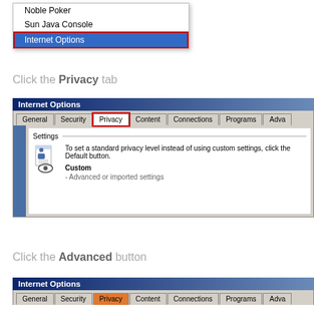[Figure (screenshot): Windows dropdown menu showing Noble Poker, Sun Java Console, and Internet Options (highlighted in blue with red border)]
Click the Privacy tab
[Figure (screenshot): Internet Options dialog with tabs: General, Security, Privacy (active, red border), Content, Connections, Programs, Adva. Settings panel showing privacy icon and Custom - Advanced or imported settings.]
Click the Advanced button
[Figure (screenshot): Internet Options dialog bottom portion with tabs: General, Security, Privacy (orange/selected), Content, Connections, Programs, Adva]